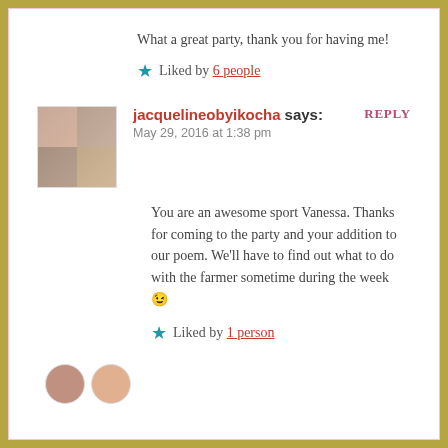What a great party, thank you for having me!
★ Liked by 6 people
REPLY
[Figure (photo): Avatar image of jacquelineobyikocha showing a 2x2 grid of portrait photos]
jacquelineobyikocha says:
May 29, 2016 at 1:38 pm
You are an awesome sport Vanessa. Thanks for coming to the party and your addition to our poem. We'll have to find out what to do with the farmer sometime during the week 😉
★ Liked by 1 person